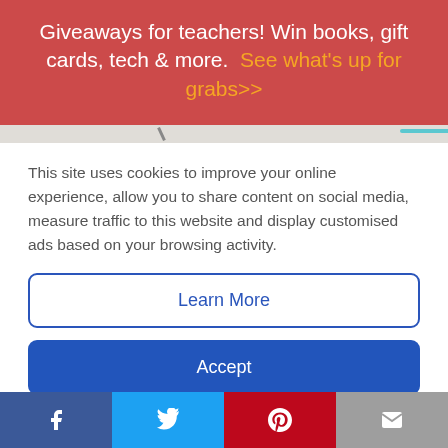Giveaways for teachers! Win books, gift cards, tech & more. See what's up for grabs>>
[Figure (screenshot): Partial image strip showing a cropped scene]
This site uses cookies to improve your online experience, allow you to share content on social media, measure traffic to this website and display customised ads based on your browsing activity.
Learn More
Accept
their wrist. But can you build your own? It takes some specialized supplies, but they're not hard to
Social share buttons: Facebook, Twitter, Pinterest, Email